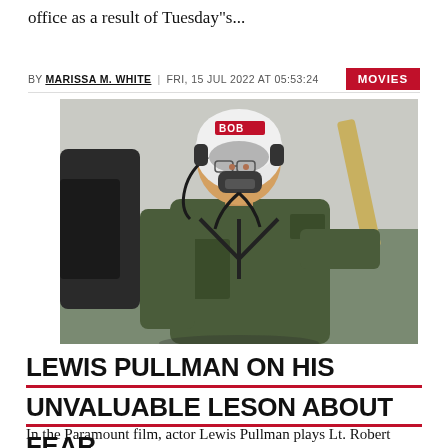office as a result of Tuesday’s...
BY MARISSA M. WHITE | FRI, 15 JUL 2022 AT 05:53:24
MOVIES
[Figure (photo): Lewis Pullman wearing a flight helmet labeled BOB and a military flight suit, standing near an aircraft with a propeller visible in the background.]
LEWIS PULLMAN ON HIS UNVALUABLE LESON ABOUT FEAR...
In the Paramount film, actor Lewis Pullman plays Lt. Robert "Bob," who plays Captain Pete...